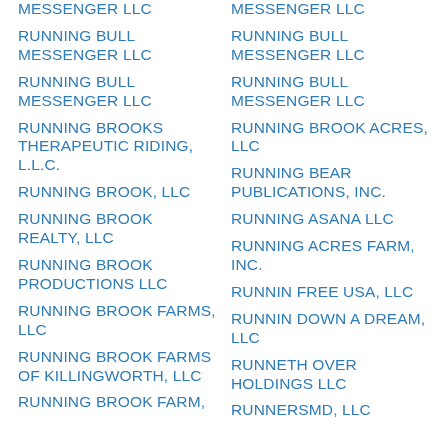MESSENGER LLC
RUNNING BULL MESSENGER LLC
RUNNING BULL MESSENGER LLC
RUNNING BROOKS THERAPEUTIC RIDING, L.L.C.
RUNNING BROOK, LLC
RUNNING BROOK REALTY, LLC
RUNNING BROOK PRODUCTIONS LLC
RUNNING BROOK FARMS, LLC
RUNNING BROOK FARMS OF KILLINGWORTH, LLC
RUNNING BROOK FARM,
MESSENGER LLC
RUNNING BULL MESSENGER LLC
RUNNING BULL MESSENGER LLC
RUNNING BROOK ACRES, LLC
RUNNING BEAR PUBLICATIONS, INC.
RUNNING ASANA LLC
RUNNING ACRES FARM, INC.
RUNNIN FREE USA, LLC
RUNNIN DOWN A DREAM, LLC
RUNNETH OVER HOLDINGS LLC
RUNNERSMD, LLC